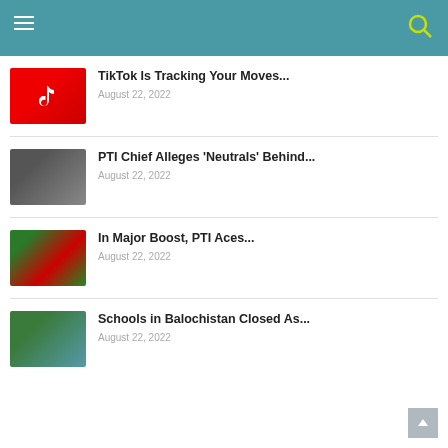Navigation menu with hamburger icon and search icon
TikTok Is Tracking Your Moves...
August 22, 2022
PTI Chief Alleges 'Neutrals' Behind...
August 22, 2022
In Major Boost, PTI Aces...
August 22, 2022
Schools in Balochistan Closed As...
August 22, 2022